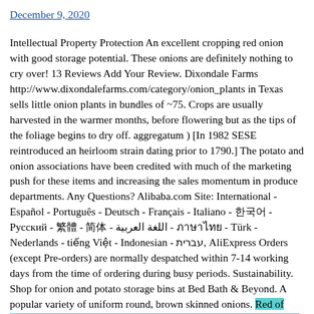December 9, 2020
Intellectual Property Protection An excellent cropping red onion with good storage potential. These onions are definitely nothing to cry over! 13 Reviews Add Your Review. Dixondale Farms http://www.dixondalefarms.com/category/onion_plants in Texas sells little onion plants in bundles of ~75. Crops are usually harvested in the warmer months, before flowering but as the tips of the foliage begins to dry off. aggregatum ) [In 1982 SESE reintroduced an heirloom strain dating prior to 1790.] The potato and onion associations have been credited with much of the marketing push for these items and increasing the sales momentum in produce departments. Any Questions? Alibaba.com Site: International - Español - Português - Deutsch - Français - Italiano - 한국어 - Русский - 繁體 - 简体 - اللغة العربية - ภาษาไทย - Türk - Nederlands - tiếng Việt - Indonesian - עברית, AliExpress Orders (except Pre-orders) are normally despatched within 7-14 working days from the time of ordering during busy periods. Sustainability. Shop for onion and potato storage bins at Bed Bath & Beyond. A popular variety of uniform round, brown skinned onions. Red of Florence Onion. They have long day short day and intermediate day onions, sweet,hot, long keeper storage onions, as well as red … Healthy red bulb onions … Onion Plants For many growers, onions and leeks are too long of a season crop to grow from seed. Photo about Red potato and onion for sale in a supermarket.